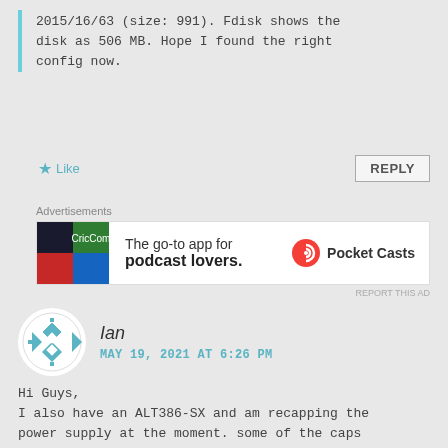2015/16/63 (size: 991). Fdisk shows the disk as 506 MB. Hope I found the right config now.
★ Like    REPLY
[Figure (other): Advertisement banner for Pocket Casts: 'The go-to app for podcast lovers.']
Ian
MAY 19, 2021 AT 6:26 PM
Hi Guys,
I also have an ALT386-SX and am recapping the power supply at the moment. some of the caps were def bad.
(additional text cut off)